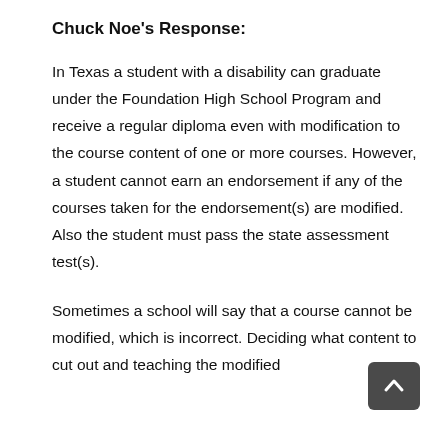Chuck Noe's Response:
In Texas a student with a disability can graduate under the Foundation High School Program and receive a regular diploma even with modification to the course content of one or more courses. However, a student cannot earn an endorsement if any of the courses taken for the endorsement(s) are modified. Also the student must pass the state assessment test(s).
Sometimes a school will say that a course cannot be modified, which is incorrect. Deciding what content to cut out and teaching the modified